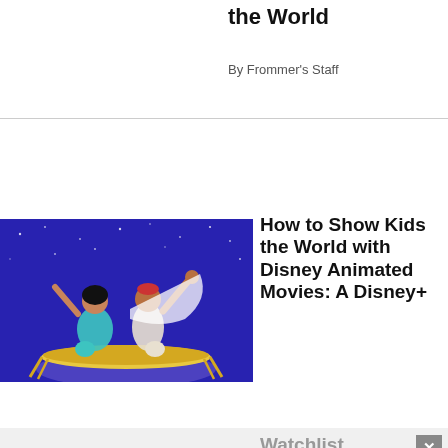the World
By Frommer's Staff
[Figure (illustration): Disney Aladdin animated scene showing Jasmine and Aladdin riding a magic carpet against a dark blue starry sky]
How to Show Kids the World with Disney Animated Movies: A Disney+ Watchlist
By Jason Cochran